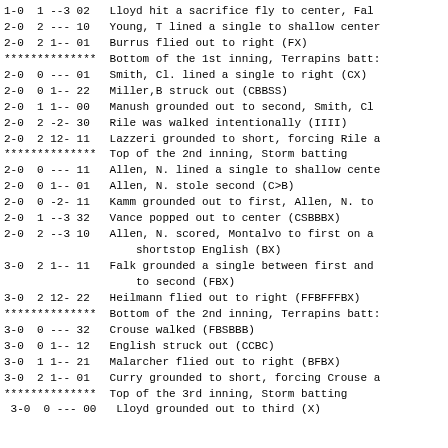1-0  1 --3 02   Lloyd hit a sacrifice fly to center, Fal
2-0  2 --- 10   Young, T lined a single to shallow center
2-0  2 1-- 01   Burrus flied out to right (FX)
**************  Bottom of the 1st inning, Terrapins batt:
2-0  0 --- 01   Smith, Cl. lined a single to right (CX)
2-0  0 1-- 22   Miller,B struck out (CBBSS)
2-0  1 1-- 00   Manush grounded out to second, Smith, Cl
2-0  2 -2- 30   Rile was walked intentionally (IIII)
2-0  2 12- 11   Lazzeri grounded to short, forcing Rile a
**************  Top of the 2nd inning, Storm batting
2-0  0 --- 11   Allen, N. lined a single to shallow cente
2-0  0 1-- 01   Allen, N. stole second (C>B)
2-0  0 -2- 11   Kamm grounded out to first, Allen, N. to
2-0  1 --3 32   Vance popped out to center (CSBBBX)
2-0  2 --3 10   Allen, N. scored, Montalvo to first on a
                    shortstop English (BX)
3-0  2 1-- 11   Falk grounded a single between first and
                    to second (FBX)
3-0  2 12- 22   Heilmann flied out to right (FFBFFFBX)
**************  Bottom of the 2nd inning, Terrapins batt:
3-0  0 --- 32   Crouse walked (FBSBBB)
3-0  0 1-- 12   English struck out (CCBC)
3-0  1 1-- 21   Malarcher flied out to right (BFBX)
3-0  2 1-- 01   Curry grounded to short, forcing Crouse a
**************  Top of the 3rd inning, Storm batting
 3-0  0 --- 00   Lloyd grounded out to third (X)